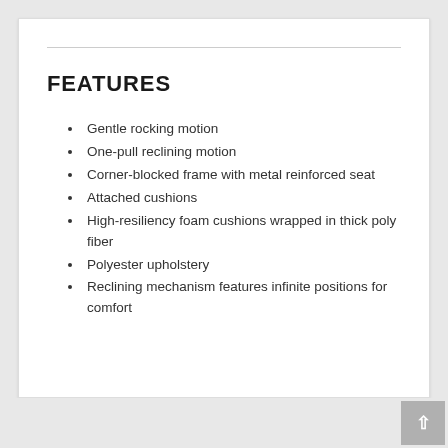FEATURES
Gentle rocking motion
One-pull reclining motion
Corner-blocked frame with metal reinforced seat
Attached cushions
High-resiliency foam cushions wrapped in thick poly fiber
Polyester upholstery
Reclining mechanism features infinite positions for comfort